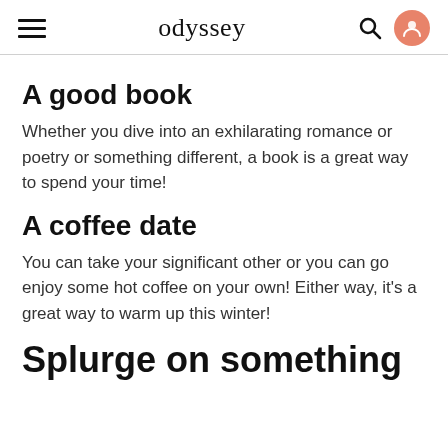odyssey
A good book
Whether you dive into an exhilarating romance or poetry or something different, a book is a great way to spend your time!
A coffee date
You can take your significant other or you can go enjoy some hot coffee on your own! Either way, it's a great way to warm up this winter!
Splurge on something